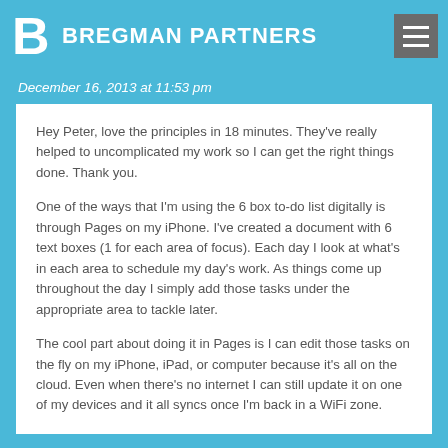BREGMAN PARTNERS
December 16, 2013 at 11:53 pm
Hey Peter, love the principles in 18 minutes. They've really helped to uncomplicated my work so I can get the right things done. Thank you.
One of the ways that I'm using the 6 box to-do list digitally is through Pages on my iPhone. I've created a document with 6 text boxes (1 for each area of focus). Each day I look at what's in each area to schedule my day's work. As things come up throughout the day I simply add those tasks under the appropriate area to tackle later.
The cool part about doing it in Pages is I can edit those tasks on the fly on my iPhone, iPad, or computer because it's all on the cloud. Even when there's no internet I can still update it on one of my devices and it all syncs once I'm back in a WiFi zone.